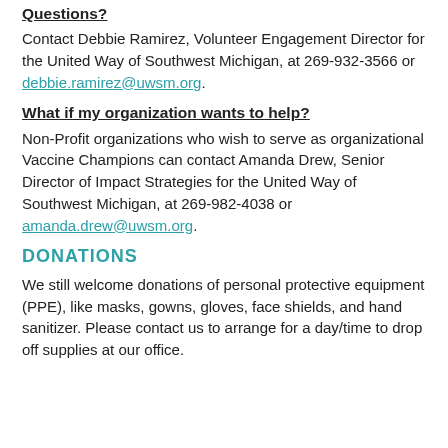Questions?
Contact Debbie Ramirez, Volunteer Engagement Director for the United Way of Southwest Michigan, at 269-932-3566 or debbie.ramirez@uwsm.org.
What if my organization wants to help?
Non-Profit organizations who wish to serve as organizational Vaccine Champions can contact Amanda Drew, Senior Director of Impact Strategies for the United Way of Southwest Michigan, at 269-982-4038 or amanda.drew@uwsm.org.
DONATIONS
We still welcome donations of personal protective equipment (PPE), like masks, gowns, gloves, face shields, and hand sanitizer. Please contact us to arrange for a day/time to drop off supplies at our office.